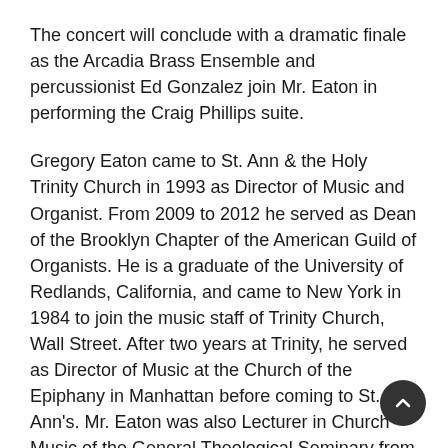The concert will conclude with a dramatic finale as the Arcadia Brass Ensemble and percussionist Ed Gonzalez join Mr. Eaton in performing the Craig Phillips suite.
Gregory Eaton came to St. Ann & the Holy Trinity Church in 1993 as Director of Music and Organist. From 2009 to 2012 he served as Dean of the Brooklyn Chapter of the American Guild of Organists. He is a graduate of the University of Redlands, California, and came to New York in 1984 to join the music staff of Trinity Church, Wall Street. After two years at Trinity, he served as Director of Music at the Church of the Epiphany in Manhattan before coming to St. Ann's. Mr. Eaton was also Lecturer in Church Music of the General Theological Seminary from 1984-2006. In addition to his church music activities he is, with David Hurd, one of the co-founders of Chelsea Winds recorder ensemble.